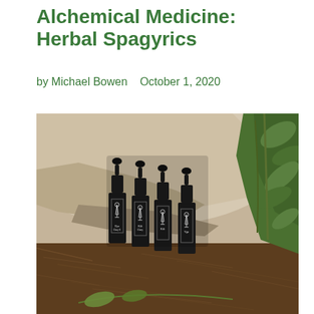Alchemical Medicine: Herbal Spagyrics
by Michael Bowen   October 1, 2020
[Figure (photo): Four small dark glass dropper bottles with white alchemical symbols on labels, arranged in a row on soil/mulch ground against a large pale stone, with green plants visible on the right side]